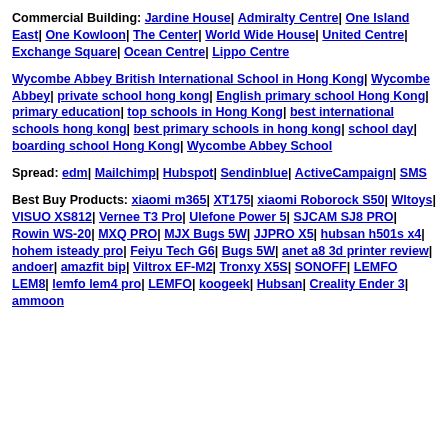Commercial Building: Jardine House| Admiralty Centre| One Island East| One Kowloon| The Center| World Wide House| United Centre| Exchange Square| Ocean Centre| Lippo Centre
Wycombe Abbey British International School in Hong Kong| Wycombe Abbey| private school hong kong| English primary school Hong Kong| primary education| top schools in Hong Kong| best international schools hong kong| best primary schools in hong kong| school day| boarding school Hong Kong| Wycombe Abbey School
Spread: edm| Mailchimp| Hubspot| Sendinblue| ActiveCampaign| SMS
Best Buy Products: xiaomi m365| XT175| xiaomi Roborock S50| Wltoys| VISUO XS812| Vernee T3 Pro| Ulefone Power 5| SJCAM SJ8 PRO| Rowin WS-20| MXQ PRO| MJX Bugs 5W| JJPRO X5| hubsan h501s x4| hohem isteady pro| Feiyu Tech G6| Bugs 5W| anet a8 3d printer review| andoer| amazfit bip| Viltrox EF-M2| Tronxy X5S| SONOFF| LEMFO LEM8| lemfo lem4 pro| LEMFO| koogeek| Hubsan| Creality Ender 3| ammoon